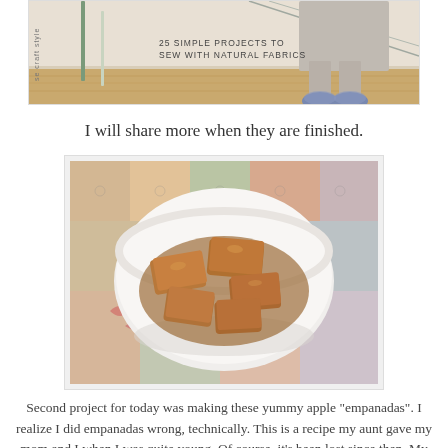[Figure (photo): Top portion of a craft book photo showing a person's legs and feet in fuzzy slippers with text '25 SIMPLE PROJECTS TO SEW WITH NATURAL FABRICS' and rotated text 'se craft style']
I will share more when they are finished.
[Figure (photo): A white bowl filled with apple empanadas (rectangular pastries with sauce/glaze) sitting on a colorful patchwork quilt]
Second project for today was making these yummy apple "empanadas". I realize I did empanadas wrong, technically. This is a recipe my aunt gave my mom and I when I was quite young. Of course, it's been lost since then. My aunt